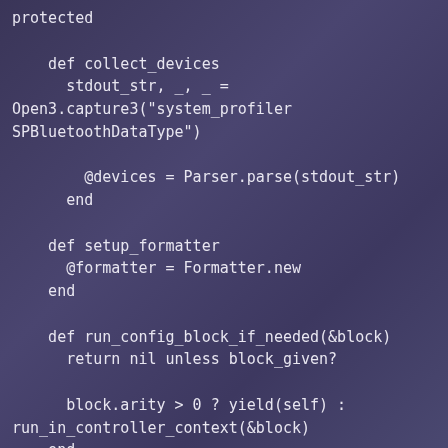protected

    def collect_devices
      stdout_str, _, _ =
Open3.capture3("system_profiler
SPBluetoothDataType")

        @devices = Parser.parse(stdout_str)
      end

    def setup_formatter
      @formatter = Formatter.new
    end

    def run_config_block_if_needed(&block)
      return nil unless block_given?

      block.arity > 0 ? yield(self) :
run_in_controller_context(&block)
    end

    def run_in_controller_context(&block)